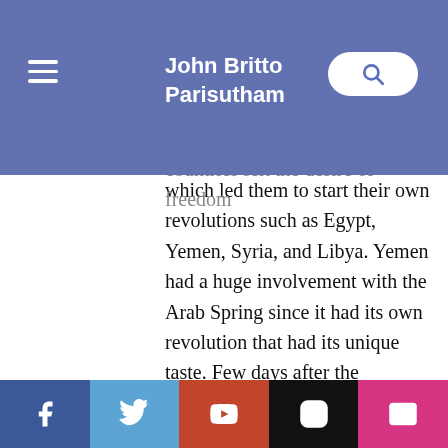John Britto Parisutham
issue. It started when the Tunisians stood to forces against dictatorship. Consequently, many other Arab countries felt the desire of freedom which led them to start their own revolutions such as Egypt, Yemen, Syria, and Libya. Yemen had a huge involvement with the Arab Spring since it had its own revolution that had its unique taste. Few days after the Egyptian revolution started, Yemeni revolution took place on 27th/ Jan/2011 by the angry nation; mostly by youth. Indeed, there were many reasons that caused the existence of the Yemeni revolution such as the spread corruption in the government, the bad
Facebook | Twitter | YouTube | Instagram | Email